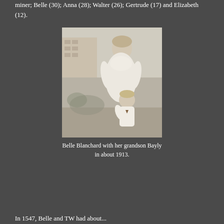miner; Belle (30); Anna (28); Walter (26); Gertrude (17) and Elizabeth (12).
[Figure (photo): Black and white photograph of Belle Blanchard standing with her young grandson Bayly, taken outdoors in about 1913. An older woman in a white dress stands behind a small child in a white outfit with a bow tie.]
Belle Blanchard with her grandson Bayly in about 1913.
In 1547, Belle and TW had about...